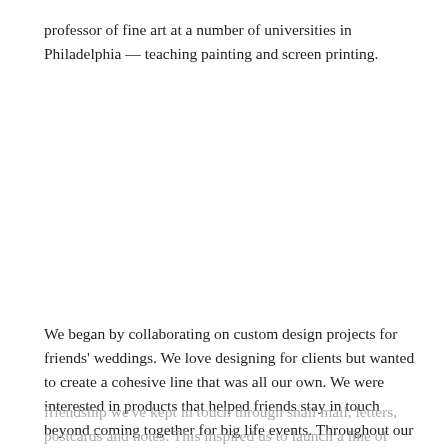professor of fine art at a number of universities in Philadelphia — teaching painting and screen printing.
We began by collaborating on custom design projects for friends' weddings. We love designing for clients but wanted to create a cohesive line that was all our own. We were interested in products that helped friends stay in touch beyond coming together for big life events. Throughout our
friendship we've kept in touch through snail mail, letters, postcards and notes. This inspired us to launch a line of cards at the National Stationery Show in 2012.